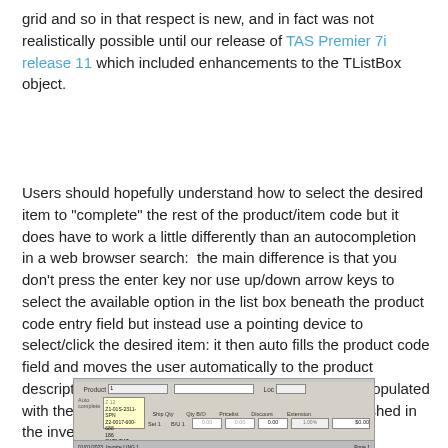grid and so in that respect is new, and in fact was not realistically possible until our release of TAS Premier 7i release 11 which included enhancements to the TListBox object.
Users should hopefully understand how to select the desired item to "complete" the rest of the product/item code but it does have to work a little differently than an autocompletion in a web browser search:  the main difference is that you don't press the enter key nor use up/down arrow keys to select the available option in the list box beneath the product code entry field but instead use a pointing device to select/click the desired item: it then auto fills the product code field and moves the user automatically to the product description field (which is in turn then automatically populated with the product code's default description as established in the inventory module).
[Figure (screenshot): Screenshot of a software UI showing a product entry form with a dropdown/autocomplete listbox open beneath the product code field, displaying yellow-highlighted list options.]